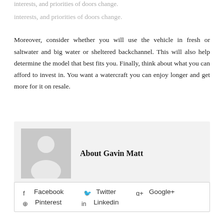interests, and priorities of doors change. Moreover, consider whether you will use the vehicle in fresh or saltwater and big water or sheltered backchannel. This will also help determine the model that best fits you. Finally, think about what you can afford to invest in. You want a watercraft you can enjoy longer and get more for it on resale.
About Gavin Matt
[Figure (illustration): Generic grey avatar/silhouette placeholder image for author Gavin Matt]
Facebook  Twitter  Google+  Pinterest  Linkedin